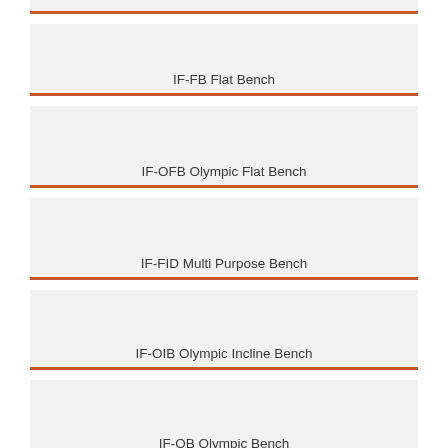IF-OB Olympic Bench (partial, top)
IF-FB Flat Bench
IF-OFB Olympic Flat Bench
IF-FID Multi Purpose Bench
IF-OIB Olympic Incline Bench
IF-OB Olympic Bench